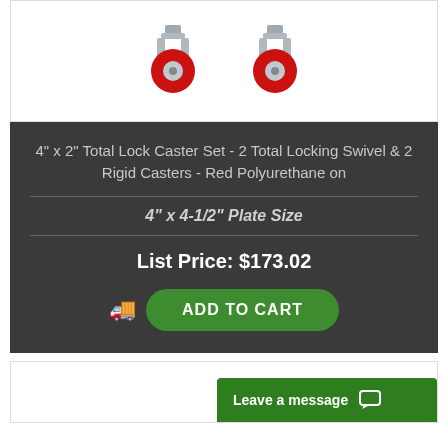[Figure (photo): Two red polyurethane caster wheels with metal swivel mounts on white background]
4" x 2" Total Lock Caster Set - 2 Total Locking Swivel & 2 Rigid Casters - Red Polyurethane on
4" x 4-1/2" Plate Size
List Price: $173.02
ADD TO CART
Leave a message